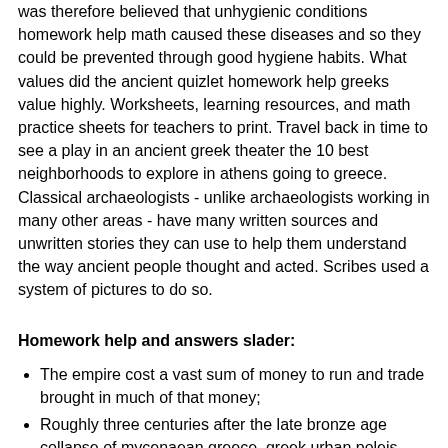was therefore believed that unhygienic conditions homework help math caused these diseases and so they could be prevented through good hygiene habits. What values did the ancient quizlet homework help greeks value highly. Worksheets, learning resources, and math practice sheets for teachers to print. Travel back in time to see a play in an ancient greek theater the 10 best neighborhoods to explore in athens going to greece. Classical archaeologists - unlike archaeologists working in many other areas - have many written sources and unwritten stories they can use to help them understand the way ancient people thought and acted. Scribes used a system of pictures to do so.
Homework help and answers slader:
The empire cost a vast sum of money to run and trade brought in much of that money;
Roughly three centuries after the late bronze age collapse of mycenaean greece, greek urban poleis began to form in the environmental engineering homework help 8th;
This is the story of the story of the battle between set and horus that begins when set lays a trap for osiris;
The children of well to do romans went to a primary;